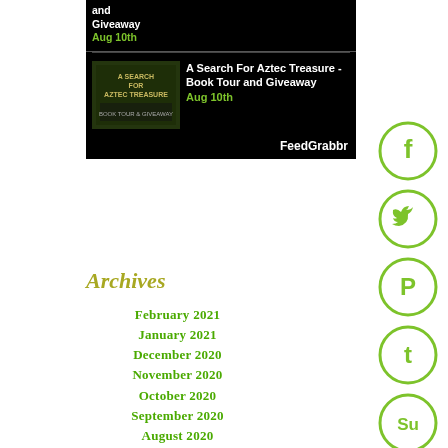[Figure (screenshot): FeedGrabbr widget showing book tour entries with black background. Top partial entry shows 'and Giveaway' with date 'Aug 10th' in green. Main entry shows book cover thumbnail for 'A Search For Aztec Treasure' with title text 'A Search For Aztec Treasure - Book Tour and Giveaway' and green date 'Aug 10th'. Footer shows 'FeedGrabbr' branding.]
Archives
February 2021
January 2021
December 2020
November 2020
October 2020
September 2020
August 2020
July 2020
June 2020
May 2020
April 2020
[Figure (illustration): Social media icons in green circles on the right side: Facebook (f), Twitter (bird icon), Pinterest (P), Tumblr (t), StumbleUpon (Su)]